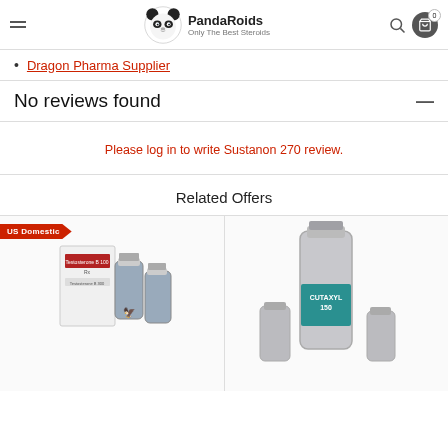PandaRoids — Only The Best Steroids
Dragon Pharma Supplier
No reviews found
Please log in to write Sustanon 270 review.
Related Offers
[Figure (photo): Product card with US Domestic badge showing Testosterone B 100 vials]
[Figure (photo): Product card showing Cutaxyl 150 vial]